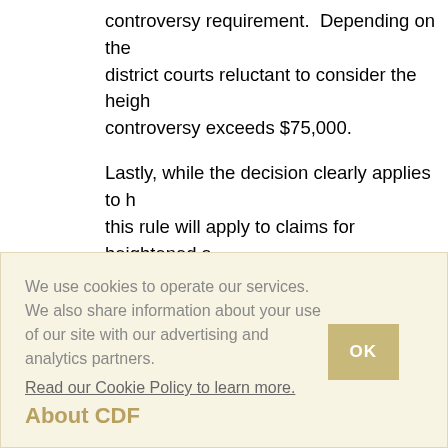controversy requirement.  Depending on the district courts reluctant to consider the heightened controversy exceeds $75,000.
Lastly, while the decision clearly applies to this rule will apply to claims for heightened section 226(e) for certain wage statement v
We use cookies to operate our services. We also share information about your use of our site with our advertising and analytics partners.
Read our Cookie Policy to learn more.
About CDF